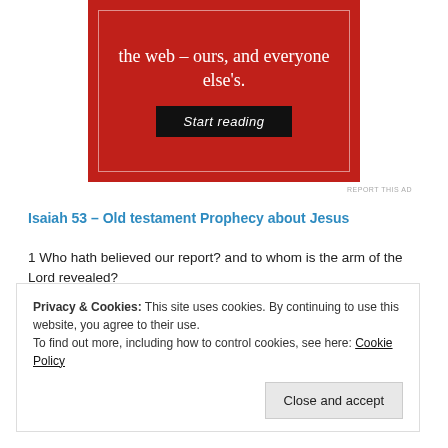[Figure (other): Red advertisement banner with white serif text 'the web – ours, and everyone else's.' and a dark 'Start reading' button on a crimson background with white border inset]
REPORT THIS AD
Isaiah 53 – Old testament Prophecy about Jesus
1 Who hath believed our report? and to whom is the arm of the Lord revealed?
2 For he shall grow up before him as a tender plant,and as a root out of a dry ground:he hath no form nor comeliness;and when we shall see him,there is no beauty that we should desire him.
Privacy & Cookies: This site uses cookies. By continuing to use this website, you agree to their use.
To find out more, including how to control cookies, see here: Cookie Policy
REPORT THIS AD